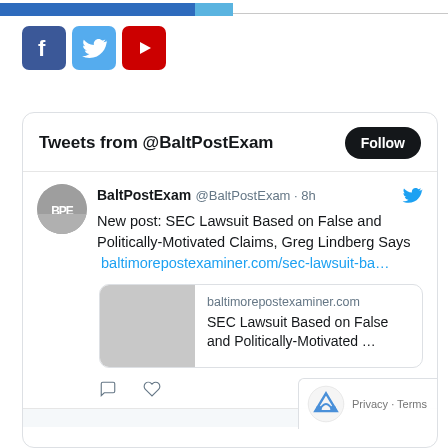[Figure (screenshot): Page header with blue and light-blue horizontal bars]
[Figure (screenshot): Social media icons: Facebook (blue), Twitter (light blue), YouTube (red)]
Tweets from @BaltPostExam
[Figure (screenshot): Tweet from BaltPostExam @BaltPostExam · 8h: New post: SEC Lawsuit Based on False and Politically-Motivated Claims, Greg Lindberg Says  baltimorepostexaminer.com/sec-lawsuit-ba… with link preview showing baltimorepostexaminer.com and SEC Lawsuit Based on False and Politically-Motivated …]